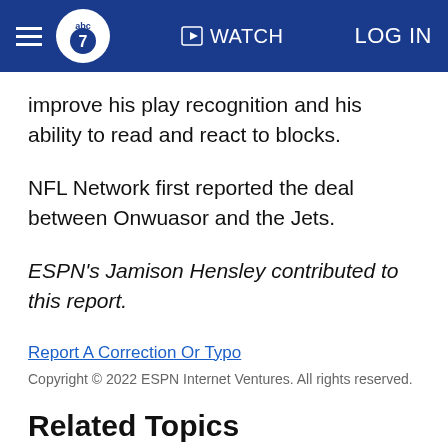ABC7 | WATCH | LOG IN
improve his play recognition and his ability to read and react to blocks.
NFL Network first reported the deal between Onwuasor and the Jets.
ESPN's Jamison Hensley contributed to this report.
Report A Correction Or Typo
Copyright © 2022 ESPN Internet Ventures. All rights reserved.
Related Topics
Sports
ESPN
news
NFL
new york-jets